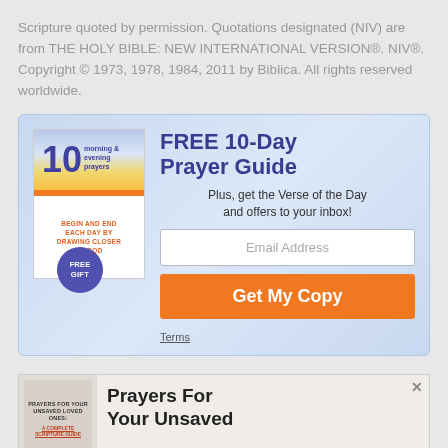Scripture quoted by permission. Quotations designated (NIV) are from THE HOLY BIBLE: NEW INTERNATIONAL VERSION®. NIV®. Copyright © 1973, 1978, 1984, 2011 by Biblica. All rights reserved worldwide.
[Figure (infographic): Promotional box with a book cover for '10 Morning & Evening Prayers' with a FREE GIFT badge, headline 'FREE 10-Day Prayer Guide', plus, get the Verse of the Day and offers to your inbox!, an email input field, and a 'Get My Copy' orange button.]
[Figure (infographic): Advertisement banner for 'Prayers For Your Unsaved Loved Ones: A Complete Scripture Guide' book with close button.]